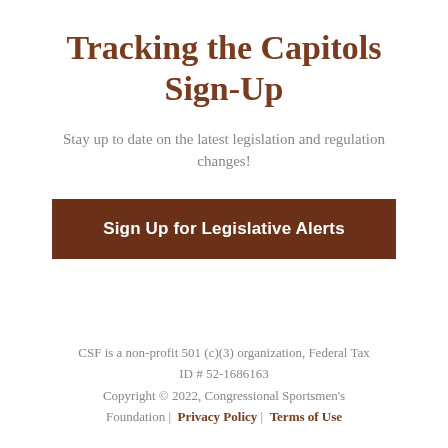Tracking the Capitols Sign-Up
Stay up to date on the latest legislation and regulation changes!
[Figure (other): Brown rectangular button labeled 'Sign Up for Legislative Alerts']
CSF is a non-profit 501 (c)(3) organization, Federal Tax ID # 52-1686163
Copyright © 2022, Congressional Sportsmen's Foundation | Privacy Policy | Terms of Use